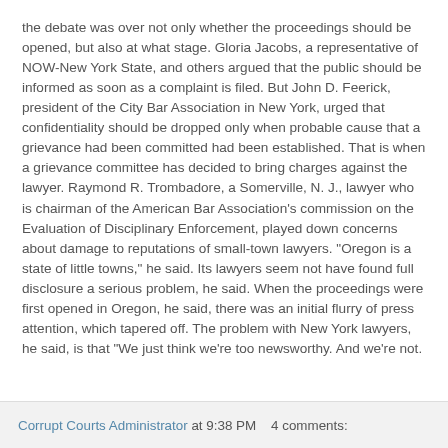the debate was over not only whether the proceedings should be opened, but also at what stage. Gloria Jacobs, a representative of NOW-New York State, and others argued that the public should be informed as soon as a complaint is filed. But John D. Feerick, president of the City Bar Association in New York, urged that confidentiality should be dropped only when probable cause that a grievance had been committed had been established. That is when a grievance committee has decided to bring charges against the lawyer. Raymond R. Trombadore, a Somerville, N. J., lawyer who is chairman of the American Bar Association's commission on the Evaluation of Disciplinary Enforcement, played down concerns about damage to reputations of small-town lawyers. "Oregon is a state of little towns," he said. Its lawyers seem not have found full disclosure a serious problem, he said. When the proceedings were first opened in Oregon, he said, there was an initial flurry of press attention, which tapered off. The problem with New York lawyers, he said, is that "We just think we're too newsworthy. And we're not.
Corrupt Courts Administrator at 9:38 PM   4 comments: